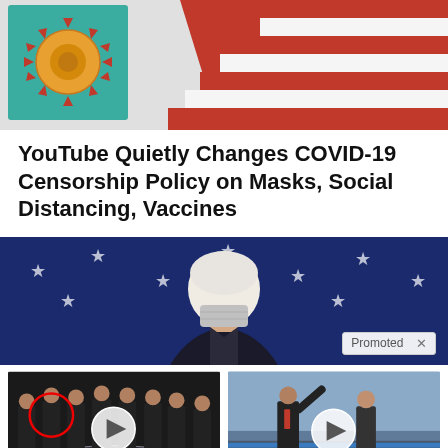[Figure (photo): Hero image showing coronavirus illustration on teal background overlapping with American flag in red, white, blue]
YouTube Quietly Changes COVID-19 Censorship Policy on Masks, Social Distancing, Vaccines
[Figure (photo): Promoted banner image of older man with white hair seen from behind against blue background with white stars. Promoted badge with X in bottom right.]
[Figure (photo): Video thumbnail: group of men in suits at CIA-style seal. Red circle highlighting one figure. Play button overlay. Caption: Biden Probably Wants This Video Destroyed — US Dollar On Path Towards Replacement? Fire icon 550,740]
[Figure (photo): Video thumbnail: men in suits on tarmac one raising hand. Play button overlay. Caption: Nancy Pelosi Wants This Video Destroyed — Watch Now Before It's Banned. Fire icon 837,568]